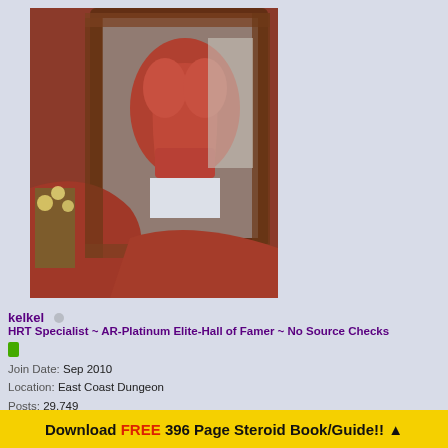[Figure (photo): A muscular person photographed from behind showing their back muscles, reflected in a framed mirror. There are white flowers visible on the left side. The person is wearing white shorts.]
kelkel ○
HRT Specialist ~ AR-Platinum Elite-Hall of Famer ~ No Source Checks
Join Date:  Sep 2010
Location:  East Coast Dungeon
Posts:  29,749
NAC's great stuff, I take it year round.
Download FREE 396 Page Steroid Book/Guide!! ▲